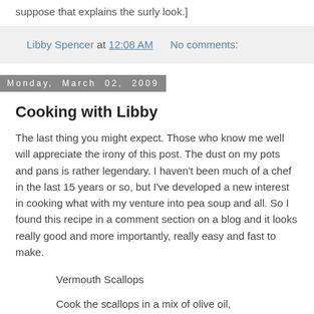suppose that explains the surly look.]
Libby Spencer at 12:08 AM    No comments:
Monday, March 02, 2009
Cooking with Libby
The last thing you might expect. Those who know me well will appreciate the irony of this post. The dust on my pots and pans is rather legendary. I haven't been much of a chef in the last 15 years or so, but I've developed a new interest in cooking what with my venture into pea soup and all. So I found this recipe in a comment section on a blog and it looks really good and more importantly, really easy and fast to make.
Vermouth Scallops
Cook the scallops in a mix of olive oil, salt/pepper, lemon juice and garlic. When